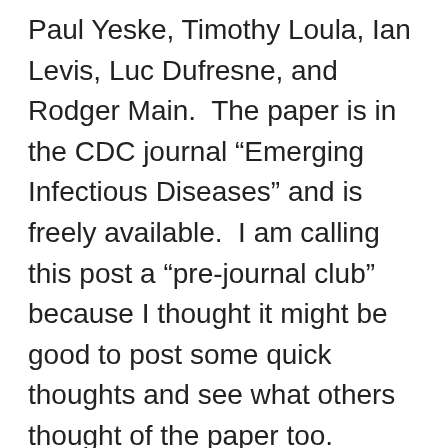Paul Yeske, Timothy Loula, Ian Levis, Luc Dufresne, and Rodger Main.  The paper is in the CDC journal “Emerging Infectious Diseases” and is freely available.  I am calling this post a “pre-journal club” because I thought it might be good to post some quick thoughts and see what others thought of the paper too.
The paper reports on a study of PEDV – porcine epidemic diarrhea virus which was detected in pigs in the US in 2013.  And the study did some sampling of the trailers used to transport pigs and reported some interesting results and conclusions.  The abstract of the paper is as follows: